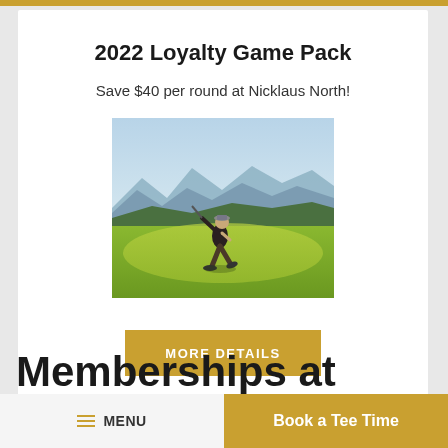2022 Loyalty Game Pack
Save $40 per round at Nicklaus North!
[Figure (photo): Golfer mid-swing on a golf course with mountain backdrop and blue sky]
MORE DETAILS
Memberships at
≡ MENU   Book a Tee Time